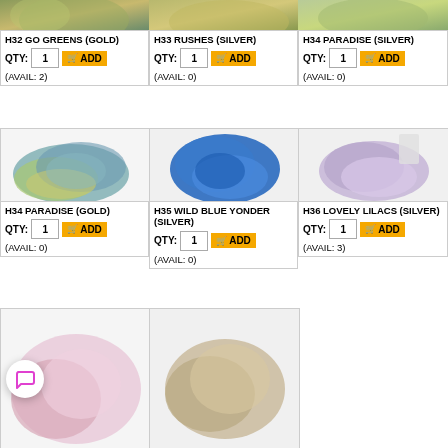[Figure (photo): H32 Go Greens (Gold) yarn skein - green/gold tones at top]
[Figure (photo): H33 Rushes (Silver) yarn skein - olive/green tones at top]
[Figure (photo): H34 Paradise (Silver) yarn skein - green tones at top]
H32 GO GREENS (GOLD)
QTY: 1  ADD  (AVAIL: 2)
H33 RUSHES (SILVER)
QTY: 1  ADD  (AVAIL: 0)
H34 PARADISE (SILVER)
QTY: 1  ADD  (AVAIL: 0)
[Figure (photo): H34 Paradise (Gold) yarn skein - blue/green tones]
[Figure (photo): H35 Wild Blue Yonder (Silver) yarn skein - bright blue]
[Figure (photo): H36 Lovely Lilacs (Silver) yarn skein - lavender/lilac tones]
H34 PARADISE (GOLD)
QTY: 1  ADD  (AVAIL: 0)
H35 WILD BLUE YONDER (SILVER)
QTY: 1  ADD  (AVAIL: 0)
H36 LOVELY LILACS (SILVER)
QTY: 1  ADD  (AVAIL: 3)
[Figure (photo): Bottom row - pink yarn partially visible]
[Figure (photo): Bottom row - beige/natural yarn partially visible]